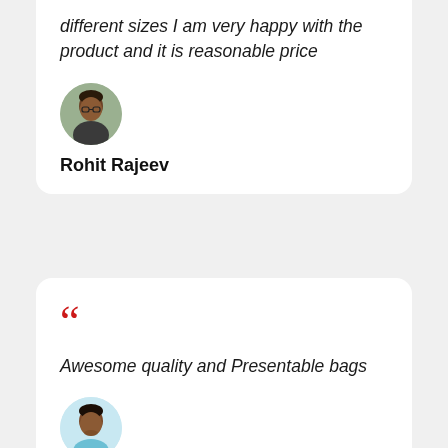different sizes I am very happy with the product and it is reasonable price
[Figure (photo): Circular avatar photo of Rohit Rajeev, a young man]
Rohit Rajeev
““
Awesome quality and Presentable bags
[Figure (photo): Circular avatar photo of vishnu gopan, a young man in a light blue shirt]
vishnu gopan